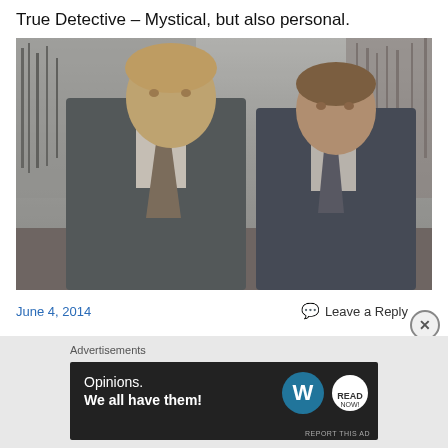True Detective – Mystical, but also personal.
[Figure (photo): Promotional photo from True Detective showing two male actors in suits standing outdoors in a muted, grey-toned landscape with reeds in the background.]
June 4, 2014
Leave a Reply
Advertisements
[Figure (screenshot): Advertisement banner for WordPress with text 'Opinions. We all have them!' and WordPress logo on a dark background.]